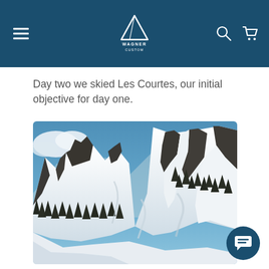WAGNER CUSTOM
Day two we skied Les Courtes, our initial objective for day one.
[Figure (photo): Snow-covered alpine mountain face (Les Courtes) with jagged rocky peaks, dark conifers, and blue sky with clouds in the upper left. The Courtes face is shown prominently with steep snow couloirs between rock ridges.]
The Courtes face. Col des Courtes is just in frame on the far left. Les Courtes, NE Face is the prominent run on the right. Photo by Baker Boyd